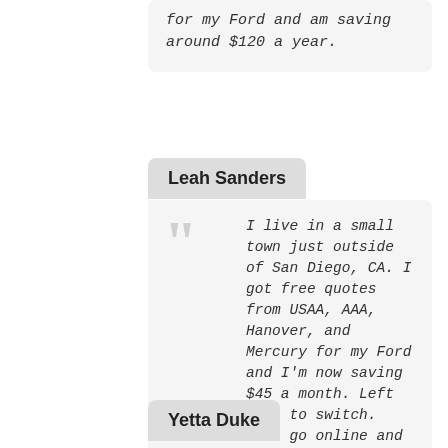for my Ford and am saving around $120 a year.
Leah Sanders
I live in a small town just outside of San Diego, CA. I got free quotes from USAA, AAA, Hanover, and Mercury for my Ford and I'm now saving $45 a month. Left USAA to switch. Just go online and compare their rates.
Yetta Duke